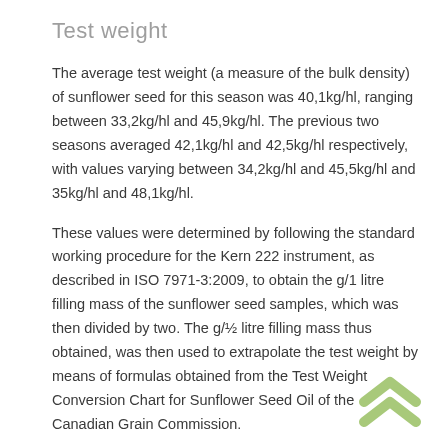Test weight
The average test weight (a measure of the bulk density) of sunflower seed for this season was 40,1kg/hl, ranging between 33,2kg/hl and 45,9kg/hl. The previous two seasons averaged 42,1kg/hl and 42,5kg/hl respectively, with values varying between 34,2kg/hl and 45,5kg/hl and 35kg/hl and 48,1kg/hl.
These values were determined by following the standard working procedure for the Kern 222 instrument, as described in ISO 7971-3:2009, to obtain the g/1 litre filling mass of the sunflower seed samples, which was then divided by two. The g/½ litre filling mass thus obtained, was then used to extrapolate the test weight by means of formulas obtained from the Test Weight Conversion Chart for Sunflower Seed Oil of the Canadian Grain Commission.